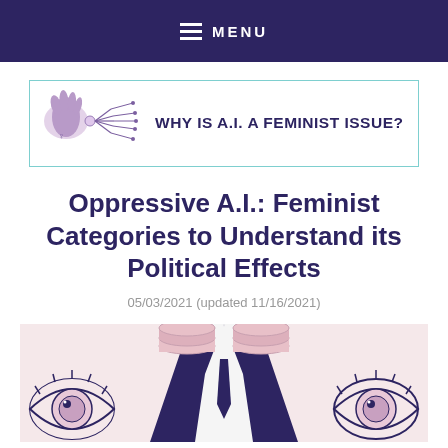MENU
[Figure (logo): Logo banner reading WHY IS A.I. A FEMINIST ISSUE? with an illustration of a hand with circuit/neural network lines]
Oppressive A.I.: Feminist Categories to Understand its Political Effects
05/03/2021 (updated 11/16/2021)
[Figure (illustration): Illustration of a figure in a suit with stacked coin/disk shapes as a head, flanked by stylized eyes, on a light pink background]